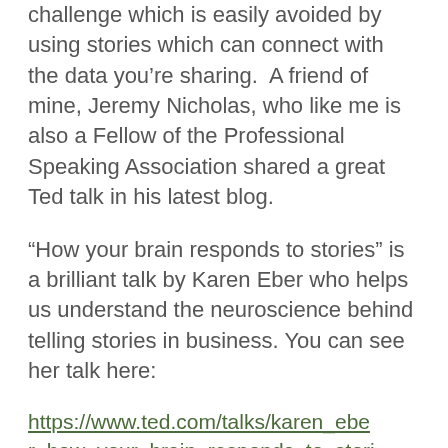challenge which is easily avoided by using stories which can connect with the data you're sharing.  A friend of mine, Jeremy Nicholas, who like me is also a Fellow of the Professional Speaking Association shared a great Ted talk in his latest blog.
“How your brain responds to stories” is a brilliant talk by Karen Eber who helps us understand the neuroscience behind telling stories in business. You can see her talk here:
https://www.ted.com/talks/karen_eber_how_your_brain_responds_to_stories_and_why_they_re_crucial_for_leaders?referrer=playlist-why_do_we_tell_stories#t-845464